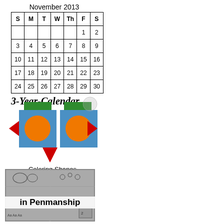| S | M | T | W | Th | F | S |
| --- | --- | --- | --- | --- | --- | --- |
|  |  |  |  |  | 1 | 2 |
| 3 | 4 | 5 | 6 | 7 | 8 | 9 |
| 10 | 11 | 12 | 13 | 14 | 15 | 16 |
| 17 | 18 | 19 | 20 | 21 | 22 | 23 |
| 24 | 25 | 26 | 27 | 28 | 29 | 30 |
November 2013
3-Year-Calendar
[Figure (illustration): Coloring shapes illustration showing two blue squares with orange circles, green rectangles on top, and red triangles on sides and bottom]
Coloring Shapes
[Figure (screenshot): Penmanship worksheet thumbnail showing handwriting practice lines]
in Penmanship